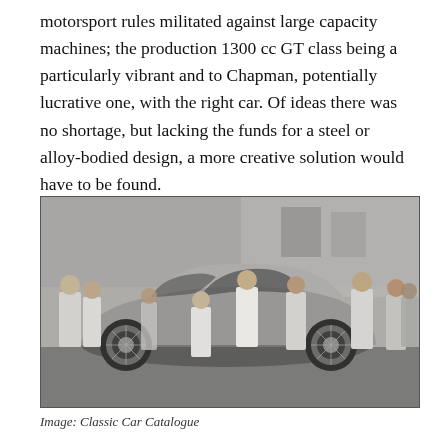motorsport rules militated against large capacity machines; the production 1300 cc GT class being a particularly vibrant and to Chapman, potentially lucrative one, with the right car. Of ideas there was no shortage, but lacking the funds for a steel or alloy-bodied design, a more creative solution would have to be found.
[Figure (photo): Black and white photograph of a group of men in white coats and casual clothing gathered around a low-slung sports car with wire wheels, standing outside a building.]
Image: Classic Car Catalogue